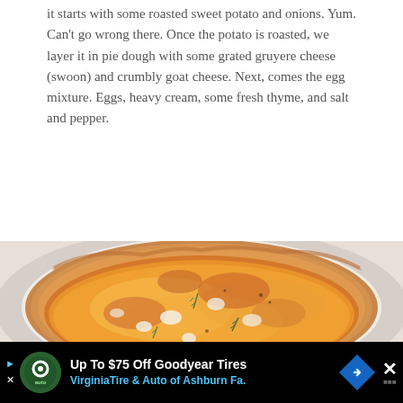it starts with some roasted sweet potato and onions. Yum. Can't go wrong there. Once the potato is roasted, we layer it in pie dough with some grated gruyere cheese (swoon) and crumbly goat cheese. Next, comes the egg mixture. Eggs, heavy cream, some fresh thyme, and salt and pepper.
[Figure (photo): Close-up photo of a baked quiche in a white pie dish with a golden brown crust, melted cheese on top, visible chunks of goat cheese and fresh thyme sprigs, with a beautifully browned and bubbly surface.]
[Figure (screenshot): Advertisement banner for Virginia Tire & Auto of Ashburn Fa., offering Up To $75 Off Goodyear Tires, with a green circular logo, blue diamond navigation icon, and close button on black background.]